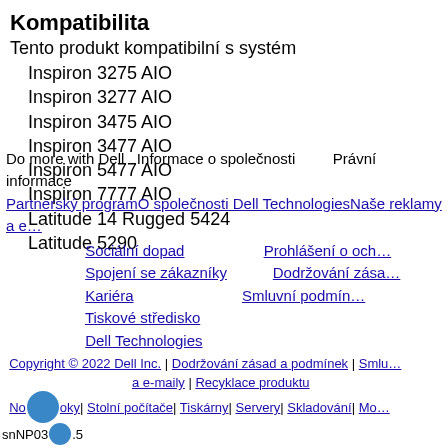Kompatibilita
Tento produkt kompatibilní s systém
Inspiron 3275 AIO
Inspiron 3277 AIO
Inspiron 3475 AIO
Inspiron 3477 AIO
Inspiron 5477 AIO
Inspiron 7777 AIO
Latitude 14 Rugged 5424
Latitude 5290
Do more with Dell  Informace o společnosti  Právní informace  Partnerský program  O společnosti Dell Technologies  Naše reklamy a  Sociální dopad  Prohlášení o och  Spojení se zákazníky  Dodržování zása  Kariéra  Smluvní podmín  Tiskové středisko  Dell Technologies  Copyright © 2022 Dell Inc. | Dodržování zásad a podmínek | Smlu a e-maily | Recyklace produktu  Notebooks| Stolní počítače| Tiskárny| Servery| Skladování| Mo  snNP03 .5